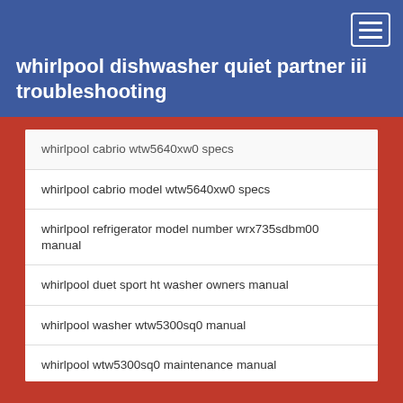whirlpool dishwasher quiet partner iii troubleshooting
whirlpool cabrio wtw5640xw0 specs
whirlpool cabrio model wtw5640xw0 specs
whirlpool refrigerator model number wrx735sdbm00 manual
whirlpool duet sport ht washer owners manual
whirlpool washer wtw5300sq0 manual
whirlpool wtw5300sq0 maintenance manual
whirlpool sports 10kg front loader manual
whirlpool washer front loader manual